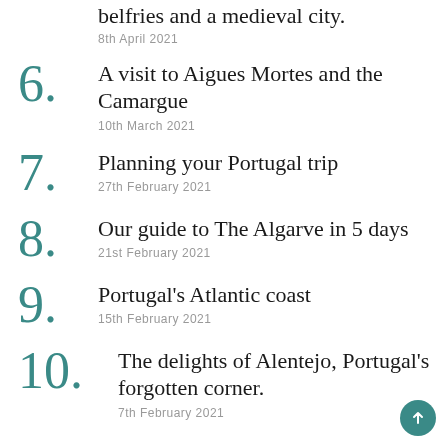belfries and a medieval city. 8th April 2021
6. A visit to Aigues Mortes and the Camargue 10th March 2021
7. Planning your Portugal trip 27th February 2021
8. Our guide to The Algarve in 5 days 21st February 2021
9. Portugal's Atlantic coast 15th February 2021
10. The delights of Alentejo, Portugal's forgotten corner. 7th February 2021